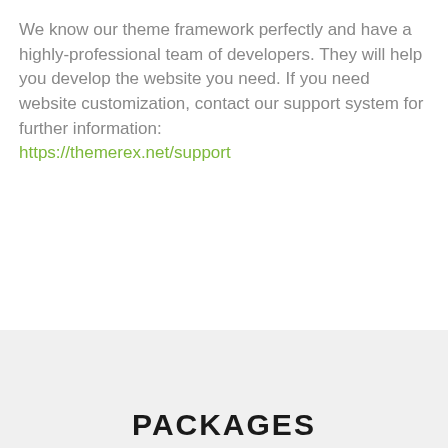We know our theme framework perfectly and have a highly-professional team of developers. They will help you develop the website you need. If you need website customization, contact our support system for further information:
https://themerex.net/support
PACKAGES